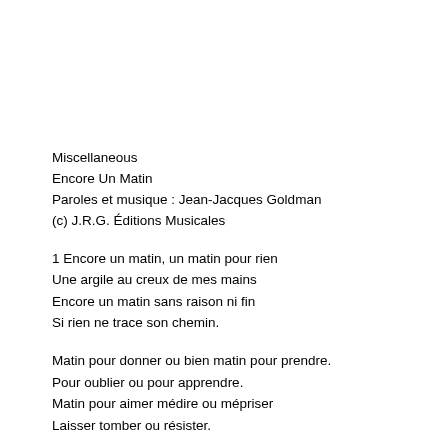Miscellaneous
Encore Un Matin
Paroles et musique : Jean-Jacques Goldman
(c) J.R.G. Éditions Musicales
1 Encore un matin, un matin pour rien
Une argile au creux de mes mains
Encore un matin sans raison ni fin
Si rien ne trace son chemin.
Matin pour donner ou bien matin pour prendre.
Pour oublier ou pour apprendre.
Matin pour aimer médire ou mépriser
Laisser tomber ou résister.
Encore un matin qui cherche et qui doute.
Matin perdu cherche une route.
Encore un matin du pire ou du mieux